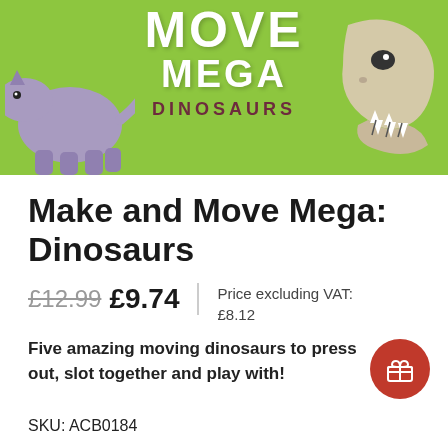[Figure (photo): Book cover for Make and Move Mega: Dinosaurs on a lime green background with white and dark red text, featuring illustrated dinosaurs on left and right sides]
Make and Move Mega: Dinosaurs
£12.99 £9.74 | Price excluding VAT: £8.12
Five amazing moving dinosaurs to press out, slot together and play with!
SKU: ACB0184